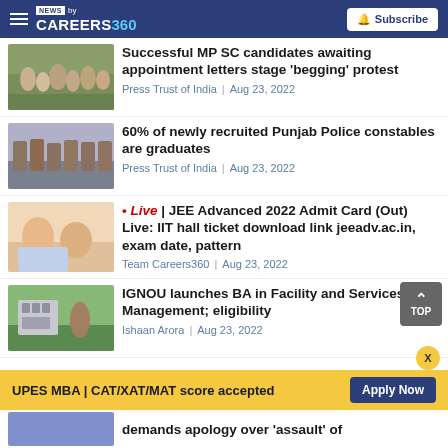NEWS by CAREERS360 | Subscribe
[Figure (photo): Crowd of people gathered outdoors]
Successful MP SC candidates awaiting appointment letters stage 'begging' protest
Press Trust of India | Aug 23, 2022
[Figure (photo): Punjab Police constables in uniform standing in line]
60% of newly recruited Punjab Police constables are graduates
Press Trust of India | Aug 23, 2022
[Figure (photo): Two young women students with laptop]
* Live | JEE Advanced 2022 Admit Card (Out) Live: IIT hall ticket download link jeeadv.ac.in, exam date, pattern
Team Careers360 | Aug 23, 2022
[Figure (photo): IGNOU campus building with garden]
IGNOU launches BA in Facility and Services Management; eligibility
Ishaan Arora | Aug 23, 2022
UPES MBA | CAT/XAT/MAT score accepted
Apply Now
demands apology over 'assault' of